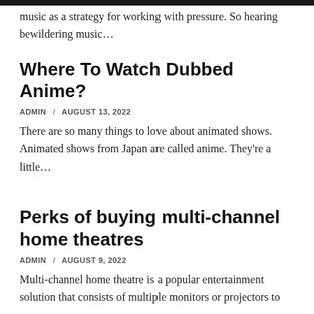music as a strategy for working with pressure. So hearing bewildering music…
Where To Watch Dubbed Anime?
ADMIN / AUGUST 13, 2022
There are so many things to love about animated shows. Animated shows from Japan are called anime. They're a little…
Perks of buying multi-channel home theatres
ADMIN / AUGUST 9, 2022
Multi-channel home theatre is a popular entertainment solution that consists of multiple monitors or projectors to